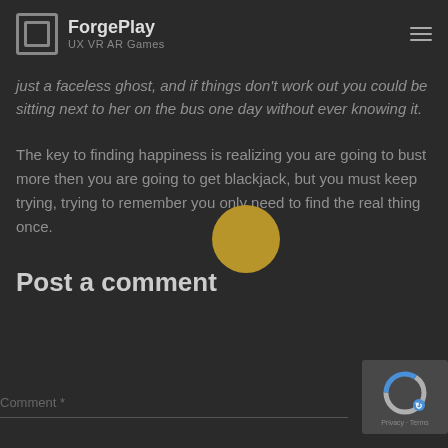ForgePlay UX VR AR Games
just a faceless ghost, and if things don't work out you could be sitting next to her on the bus one day without ever knowing it.
The key to finding happiness is realizing you are going to bust more then you are going to get blackjack, but you must keep trying, trying to remember you only need to find the real thing once.
Post a comment
Comment *